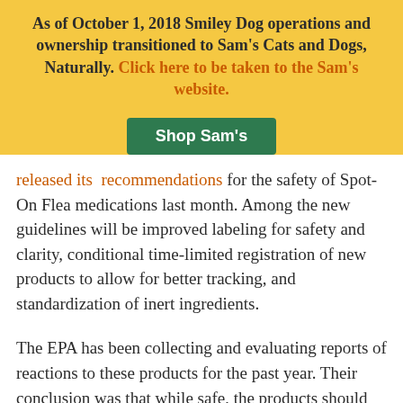As of October 1, 2018 Smiley Dog operations and ownership transitioned to Sam's Cats and Dogs, Naturally. Click here to be taken to the Sam's website.
Shop Sam's
released its recommendations for the safety of Spot-On Flea medications last month. Among the new guidelines will be improved labeling for safety and clarity, conditional time-limited registration of new products to allow for better tracking, and standardization of inert ingredients.
The EPA has been collecting and evaluating reports of reactions to these products for the past year. Their conclusion was that while safe, the products should be used with caution and with strict adherence to manufacturer provided instructions. A public